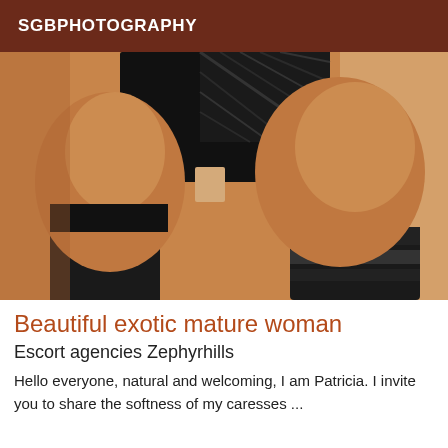SGBPHOTOGRAPHY
[Figure (photo): Close-up photo of a woman's torso and thighs wearing black lingerie and black thigh-high stockings with garter straps, against a beige background.]
Beautiful exotic mature woman
Escort agencies Zephyrhills
Hello everyone, natural and welcoming, I am Patricia. I invite you to share the softness of my caresses ...